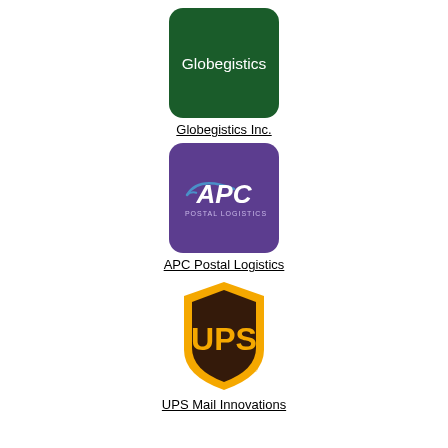[Figure (logo): Globegistics Inc. logo - dark green rounded square with white text 'Globegistics']
Globegistics Inc.
[Figure (logo): APC Postal Logistics logo - purple rounded square with APC lettering and swoosh graphic]
APC Postal Logistics
[Figure (logo): UPS Mail Innovations logo - UPS shield logo in gold and brown]
UPS Mail Innovations